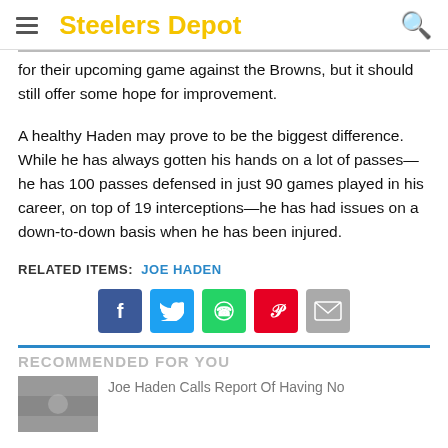Steelers Depot
for their upcoming game against the Browns, but it should still offer some hope for improvement.
A healthy Haden may prove to be the biggest difference. While he has always gotten his hands on a lot of passes—he has 100 passes defensed in just 90 games played in his career, on top of 19 interceptions—he has had issues on a down-to-down basis when he has been injured.
RELATED ITEMS:  JOE HADEN
[Figure (infographic): Social share buttons: Facebook, Twitter, WhatsApp, Pinterest, Email]
RECOMMENDED FOR YOU
Joe Haden Calls Report Of Having No